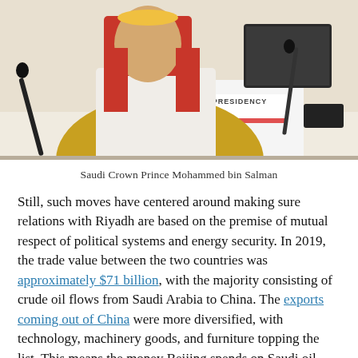[Figure (photo): Saudi Crown Prince Mohammed bin Salman seated at a conference table with a 'PRESIDENCY' nameplate, wearing traditional Saudi attire (red and white keffiyeh and yellow/gold robe), with microphones and a laptop visible.]
Saudi Crown Prince Mohammed bin Salman
Still, such moves have centered around making sure relations with Riyadh are based on the premise of mutual respect of political systems and energy security. In 2019, the trade value between the two countries was approximately $71 billion, with the majority consisting of crude oil flows from Saudi Arabia to China. The exports coming out of China were more diversified, with technology, machinery goods, and furniture topping the list. This means the money Beijing spends on Saudi oil